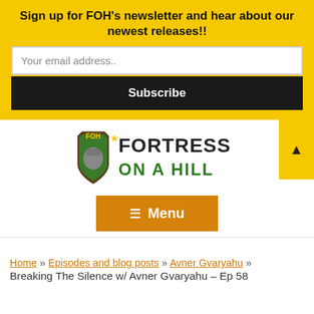Sign up for FOH's newsletter and hear about our newest releases!!
Your email address..
Subscribe
[Figure (logo): Fortress On A Hill logo with shield and fist graphic]
Menu
Home » Episodes and blog posts » Avner Gvaryahu » Breaking The Silence w/ Avner Gvaryahu – Ep 58